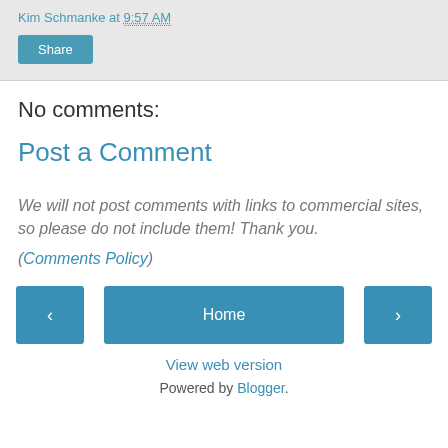Kim Schmanke at 9:57 AM
Share
No comments:
Post a Comment
We will not post comments with links to commercial sites, so please do not include them! Thank you.
(Comments Policy)
‹
Home
›
View web version
Powered by Blogger.